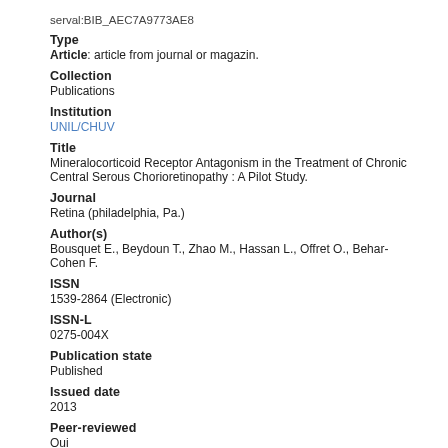serval:BIB_AEC7A9773AE8
Type
Article: article from journal or magazin.
Collection
Publications
Institution
UNIL/CHUV
Title
Mineralocorticoid Receptor Antagonism in the Treatment of Chronic Central Serous Chorioretinopathy : A Pilot Study.
Journal
Retina (philadelphia, Pa.)
Author(s)
Bousquet E., Beydoun T., Zhao M., Hassan L., Offret O., Behar-Cohen F.
ISSN
1539-2864 (Electronic)
ISSN-L
0275-004X
Publication state
Published
Issued date
2013
Peer-reviewed
Oui